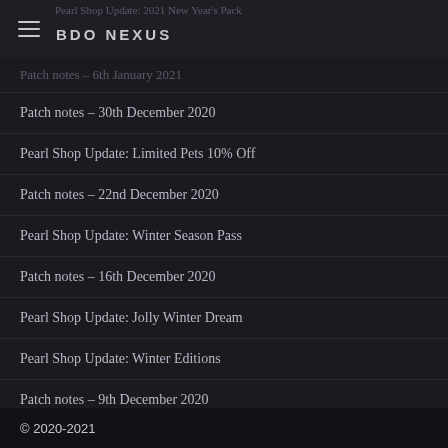BDO NEXUS
Pearl Shop Update: 2021 New Year's Pack
Patch notes – 6th January 2021
Patch notes – 30th December 2020
Pearl Shop Update: Limited Pets 10% Off
Patch notes – 22nd December 2020
Pearl Shop Update: Winter Season Pass
Patch notes – 16th December 2020
Pearl Shop Update: Jolly Winter Dream
Pearl Shop Update: Winter Editions
Patch notes – 9th December 2020
Pearl Shop Update: December Enhancement Pack
© 2020-2021